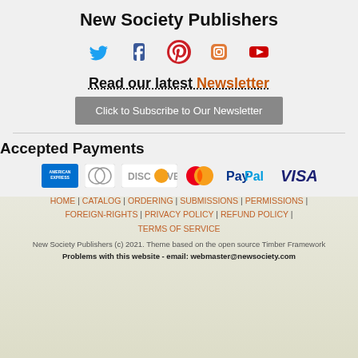New Society Publishers
[Figure (infographic): Row of 5 social media icons: Twitter (blue bird), Facebook (blue F), Pinterest (red P), Instagram (orange camera), YouTube (red play button)]
Read our latest Newsletter
Click to Subscribe to Our Newsletter
Accepted Payments
[Figure (infographic): Payment method logos: American Express, Diners Club, Discover, MasterCard, PayPal, VISA]
HOME | CATALOG | ORDERING | SUBMISSIONS | PERMISSIONS | FOREIGN-RIGHTS | PRIVACY POLICY | REFUND POLICY | TERMS OF SERVICE
New Society Publishers (c) 2021. Theme based on the open source Timber Framework
Problems with this website - email: webmaster@newsociety.com